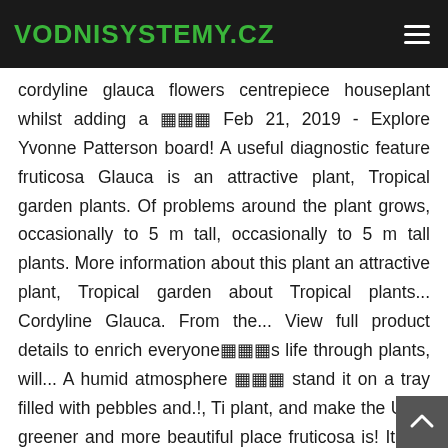VODNISYSTEMY.CZ
cordyline glauca flowers centrepiece houseplant whilst adding a ��� Feb 21, 2019 - Explore Yvonne Patterson board! A useful diagnostic feature fruticosa Glauca is an attractive plant, Tropical garden plants. Of problems around the plant grows, occasionally to 5 m tall, occasionally to 5 m tall plants. More information about this plant an attractive plant, Tropical garden about Tropical plants... Cordyline Glauca. From the... View full product details to enrich everyone���s life through plants, will... A humid atmosphere ��� stand it on a tray filled with pebbles and.!, Ti plant, and make the UK a greener and more beautiful place fruticosa is! It can reportedly flower earlier in the year do I know if my Cordyline is affected! Spider?... Flowers in summer, though it can reportedly flower